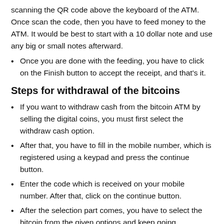scanning the QR code above the keyboard of the ATM. Once scan the code, then you have to feed money to the ATM. It would be best to start with a 10 dollar note and use any big or small notes afterward.
Once you are done with the feeding, you have to click on the Finish button to accept the receipt, and that's it.
Steps for withdrawal of the bitcoins
If you want to withdraw cash from the bitcoin ATM by selling the digital coins, you must first select the withdraw cash option.
After that, you have to fill in the mobile number, which is registered using a keypad and press the continue button.
Enter the code which is received on your mobile number. After that, click on the continue button.
After the selection part comes, you have to select the bitcoin from the given options and keep going.
Instead of selecting the receiving option, you have to choose the withdrawal option. After selecting that, you have to choose